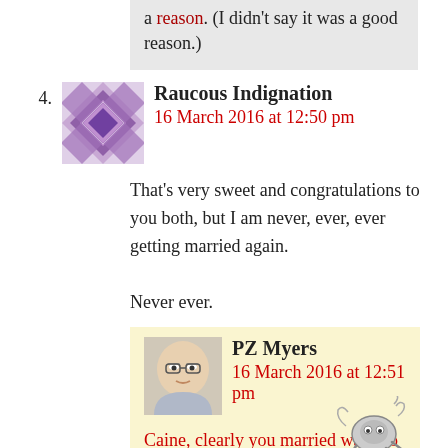a reason. (I didn't say it was a good reason.)
4. Raucous Indignation
16 March 2016 at 12:50 pm
That's very sweet and congratulations to you both, but I am never, ever, ever getting married again.
Never ever.
5. PZ Myers
16 March 2016 at 12:51 pm
Caine, clearly you married way too young
6. Caine
16 March 2016 at 12:53 pm